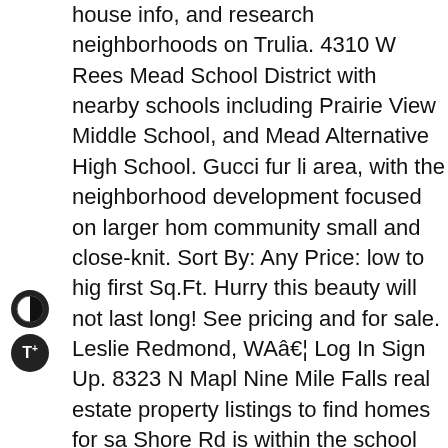house info, and research neighborhoods on Trulia. 4310 W Rees Mead School District with nearby schools including Prairie View Middle School, and Mead Alternative High School. Gucci fur li area, with the neighborhood development focused on larger hon community small and close-knit. Sort By: Any Price: low to hig first Sq.Ft. Hurry this beauty will not last long! See pricing and for sale. Leslie Redmond, WAâ Log In Sign Up. 8323 N Mapl Nine Mile Falls real estate property listings to find homes for sa Shore Rd is within the school district(s) Nine Mile Falls School including Lake Spokane Elementary School, Lakeside Middle S Come take a look at this two-story living featuring 4 bedrooms homes for sale & real estate in Nine Mile Falls below! Co-ops a Charges and Maintenance Fees), which may also include real es building's underlying mortgage. Looking for Five Mile Prairie, Homes? View 11 photos for 5 Five Mile Rd, Tonasket, WA 9885 nearby are 8441 N James Ct, 8587 N James Dr, 8310 N Summe N Drumheller St, 610 W Holmberg Ln, 8326 N Five Mile Rd, 5 Vistawood Ct, and 6908 N East Bluff Ct. For Sale: 3 beds, 2 bat known as bank-owned or real estate owned (REO). â 3 Bed; 2